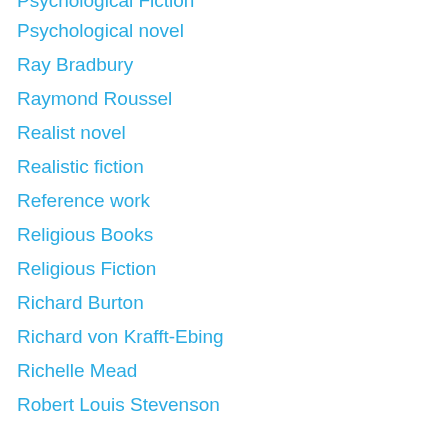Psychological Fiction
Psychological novel
Ray Bradbury
Raymond Roussel
Realist novel
Realistic fiction
Reference work
Religious Books
Religious Fiction
Richard Burton
Richard von Krafft-Ebing
Richelle Mead
Robert Louis Stevenson